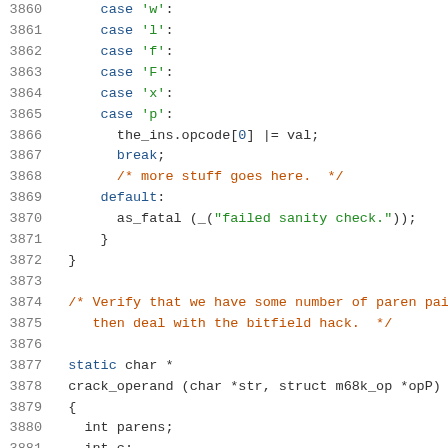3860  case 'w':
3861  case 'l':
3862  case 'f':
3863  case 'F':
3864  case 'x':
3865  case 'p':
3866    the_ins.opcode[0] |= val;
3867    break;
3868    /* more stuff goes here.  */
3869  default:
3870    as_fatal (_("failed sanity check."));
3871  }
3872 }
3873
3874  /* Verify that we have some number of paren pai
3875     then deal with the bitfield hack.  */
3876
3877  static char *
3878  crack_operand (char *str, struct m68k_op *opP)
3879  {
3880    int parens;
3881    int c;